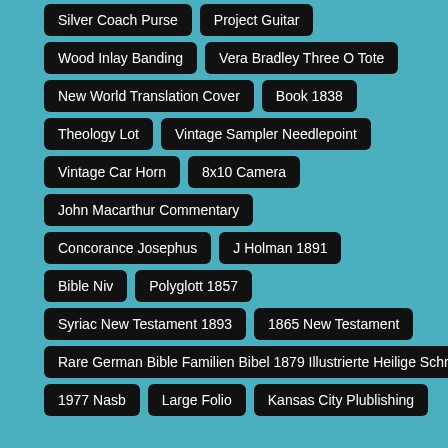Silver Coach Purse
Project Guitar
Wood Inlay Banding
Vera Bradley Three O Tote
New World Translation Cover
Book 1838
Theology Lot
Vintage Sampler Needlepoint
Vintage Car Horn
8x10 Camera
John Macarthur Commentary
Concorance Josephus
J Holman 1891
Bible Niv
Polyglott 1857
Syriac New Testament 1893
1865 New Testament
Rare German Bible Familien Bibel 1879 Illustrierte Heilige Schrift
1977 Nasb
Large Folio
Kansas City Plublishing